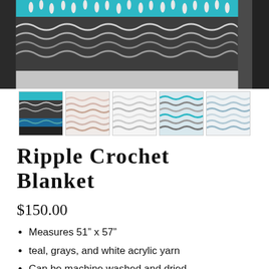[Figure (photo): Main product photo of a ripple crochet blanket in teal, dark gray, and white colors, showing textured crochet stitches close up. Below it are 5 thumbnail images showing different views/color variations of the blanket.]
Ripple Crochet Blanket
$150.00
Measures 51” x 57”
teal, grays, and white acrylic yarn
Can be machine washed and dried